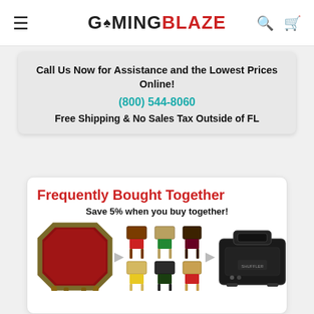GamingBlaze (navigation bar with hamburger menu, logo, search and cart icons)
Call Us Now for Assistance and the Lowest Prices Online!
(800) 544-8060
Free Shipping & No Sales Tax Outside of FL
Frequently Bought Together
Save 5% when you buy together!
[Figure (photo): Three product images: an octagonal poker table with red felt top and wooden legs, a set of folding wooden chairs in various colors, and a black automatic card shuffler machine.]